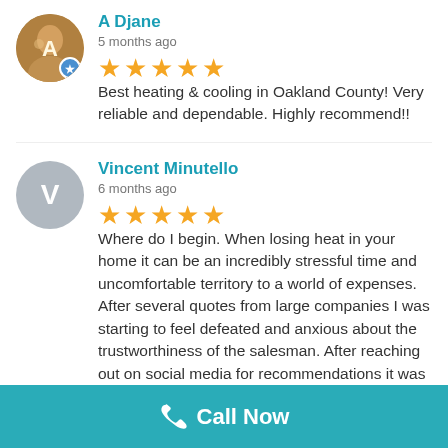A Djane
5 months ago
★★★★★ Best heating & cooling in Oakland County! Very reliable and dependable. Highly recommend!!
Vincent Minutello
6 months ago
★★★★★ Where do I begin. When losing heat in your home it can be an incredibly stressful time and uncomfortable territory to a world of expenses. After several quotes from large companies I was starting to feel defeated and anxious about the trustworthiness of the salesman. After reaching out on social media for recommendations it was clear that Scribs Heating and Cooling has left an extremely large footprint on the local area. Within a short amount Dan arrived at my house to discuss what my best options would be. He was different from the rest of
Call Now